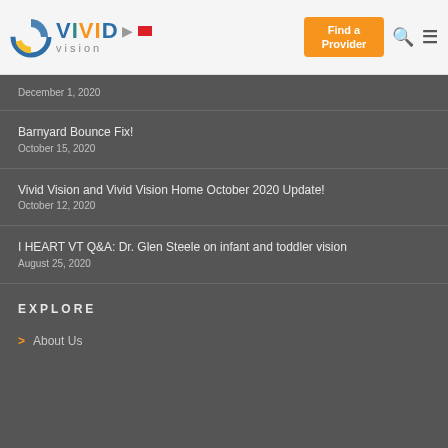Vivid Vision — Find a Provider
December 1, 2020
Barnyard Bounce Fix!
October 15, 2020
Vivid Vision and Vivid Vision Home October 2020 Update!
October 12, 2020
I HEART VT Q&A: Dr. Glen Steele on infant and toddler vision
August 25, 2020
EXPLORE
About Us